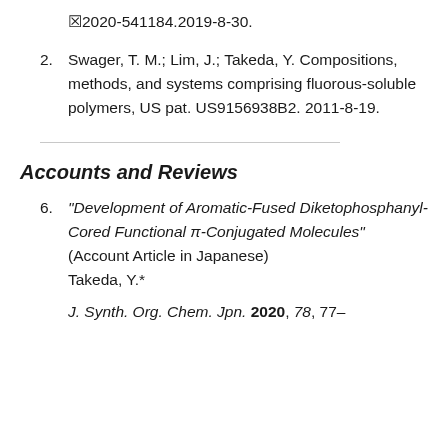&#x2612;2020-541184.2019-8-30.
2. Swager, T. M.; Lim, J.; Takeda, Y. Compositions, methods, and systems comprising fluorous-soluble polymers, US pat. US9156938B2. 2011-8-19.
Accounts and Reviews
6. “Development of Aromatic-Fused Diketophosphanyl-Cored Functional π-Conjugated Molecules” (Account Article in Japanese) Takeda, Y.*
J. Synth. Org. Chem. Jpn. 2020, 78, 77...